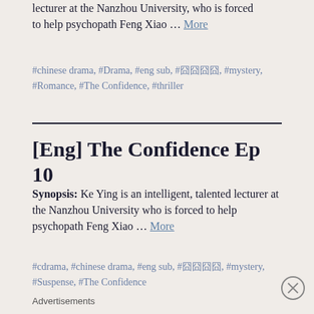lecturer at the Nanzhou University, who is forced to help psychopath Feng Xiao … More
#chinese drama, #Drama, #eng sub, #囧囧囧囧, #mystery, #Romance, #The Confidence, #thriller
[Eng] The Confidence Ep 10
Synopsis: Ke Ying is an intelligent, talented lecturer at the Nanzhou University who is forced to help psychopath Feng Xiao … More
#cdrama, #chinese drama, #eng sub, #囧囧囧囧, #mystery, #Suspense, #The Confidence
Advertisements